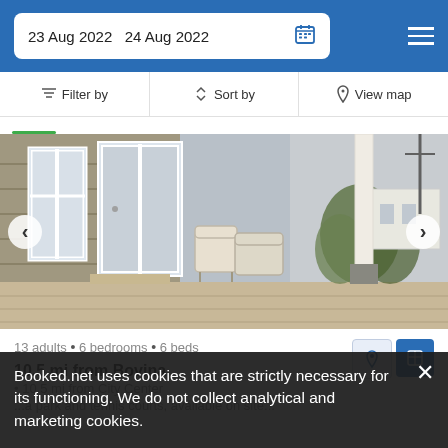23 Aug 2022  24 Aug 2022
Filter by  Sort by  View map
[Figure (photo): Porch of a house with white wicker chairs, white columns, large windows and sliding glass doors, vegetation visible in background]
13 adults • 6 bedrooms • 6 beds
10.5 mi from Bovina
• 10.5 mi from City Center
Booked.net uses cookies that are strictly necessary for its functioning. We do not collect analytical and marketing cookies.
a park and tennis courts, available on site...